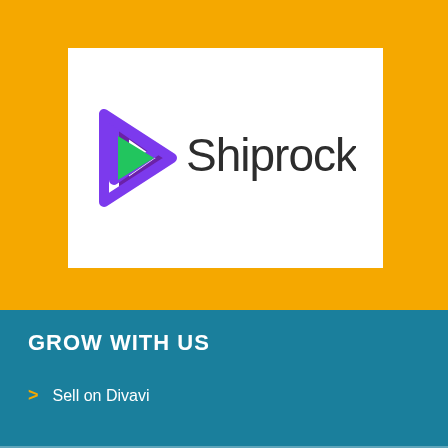[Figure (logo): Shiprocket company logo on white background — purple layered play-button icon on the left, dark gray text 'Shiprocket' on the right]
GROW WITH US
Sell on Divavi